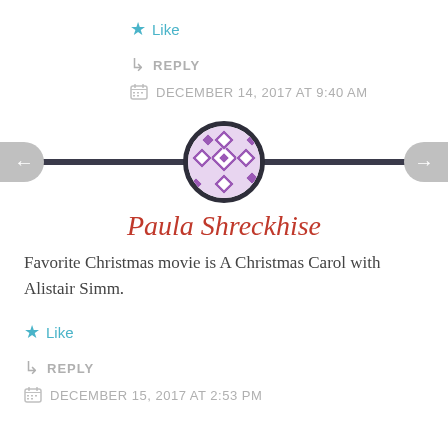★ Like
↳ REPLY
DECEMBER 14, 2017 AT 9:40 AM
[Figure (illustration): Horizontal dark divider line with a circular avatar in the center featuring a purple geometric diamond pattern, with left and right navigation arrows on either side]
Paula Shreckhise
Favorite Christmas movie is A Christmas Carol with Alistair Simm.
★ Like
↳ REPLY
DECEMBER 15, 2017 AT 2:53 PM